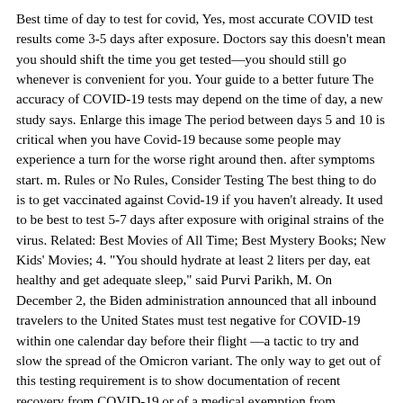Best time of day to test for covid, Yes, most accurate COVID test results come 3-5 days after exposure. Doctors say this doesn't mean you should shift the time you get tested—you should still go whenever is convenient for you. Your guide to a better future The accuracy of COVID-19 tests may depend on the time of day, a new study says. Enlarge this image The period between days 5 and 10 is critical when you have Covid-19 because some people may experience a turn for the worse right around then. after symptoms start. m. Rules or No Rules, Consider Testing The best thing to do is to get vaccinated against Covid-19 if you haven't already. It used to be best to test 5-7 days after exposure with original strains of the virus. Related: Best Movies of All Time; Best Mystery Books; New Kids' Movies; 4. "You should hydrate at least 2 liters per day, eat healthy and get adequate sleep," said Purvi Parikh, M. On December 2, the Biden administration announced that all inbound travelers to the United States must test negative for COVID-19 within one calendar day before their flight —a tactic to try and slow the spread of the Omicron variant. The only way to get out of this testing requirement is to show documentation of recent recovery from COVID-19 or of a medical exemption from vaccination. In fact, there are even tests that diagnose COVID-19, flu, and RSV (respiratory syncytial virus), a virus that causes common cold symptoms, at once. This change—which takes effect on Monday, December For the most part, people will test positive